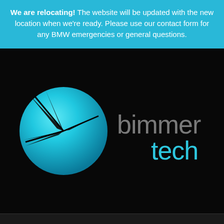We are relocating! The website will be updated with the new location when we're ready. Please use our contact form for any BMW emergencies or general questions.
[Figure (logo): Bimmer Tech logo on black background: a cyan/turquoise circle with dark arrow/star cutout shape on the left, and 'bimmer tech' text in grey on the right, 'tech' in cyan.]
Web Design by JellyFlea Creative